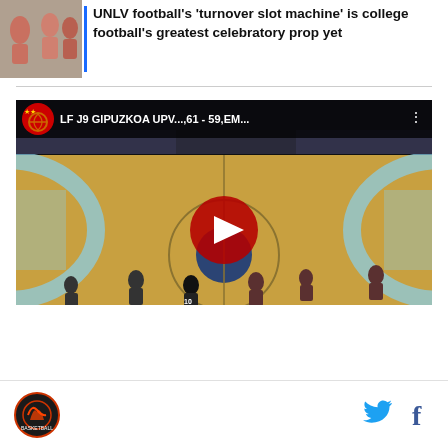[Figure (screenshot): Article thumbnail with photo of people]
UNLV football’s ‘turnover slot machine’ is college football’s greatest celebratory prop yet
[Figure (screenshot): YouTube video thumbnail of basketball game: LF J9 GIPUZKOA UPV...,61 - 59,EM... with YouTube play button overlay]
[Figure (logo): Basketball team logo in footer]
[Figure (illustration): Twitter bird icon in footer]
[Figure (illustration): Facebook f icon in footer]